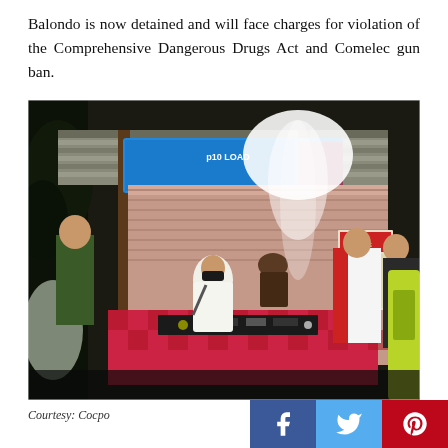Balondo is now detained and will face charges for violation of the Comprehensive Dangerous Drugs Act and Comelec gun ban.
[Figure (photo): Night photo of police operation at a small outdoor stall. Several people are gathered around a table covered with a red checkered cloth. Items are laid out on the table. A man in a white shirt and mask sits at center, a man in a green jacket stands at left, and two men stand at right. Blue signage is visible in the background.]
Courtesy: Cocpo